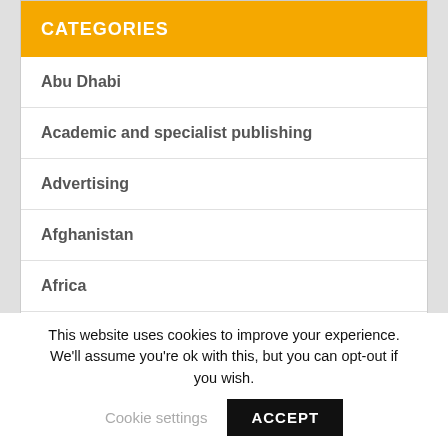CATEGORIES
Abu Dhabi
Academic and specialist publishing
Advertising
Afghanistan
Africa
Aggregators
This website uses cookies to improve your experience. We'll assume you're ok with this, but you can opt-out if you wish. Cookie settings ACCEPT